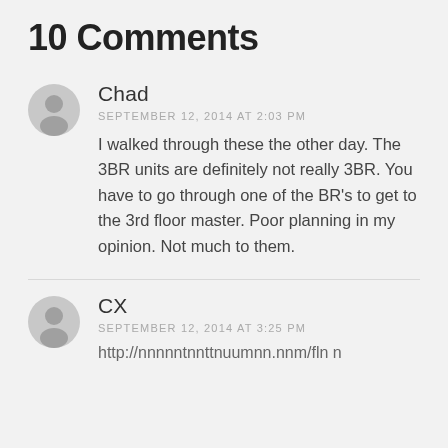10 Comments
Chad
SEPTEMBER 12, 2014 AT 2:03 PM
I walked through these the other day. The 3BR units are definitely not really 3BR. You have to go through one of the BR's to get to the 3rd floor master. Poor planning in my opinion. Not much to them.
CX
SEPTEMBER 12, 2014 AT 3:25 PM
http://…